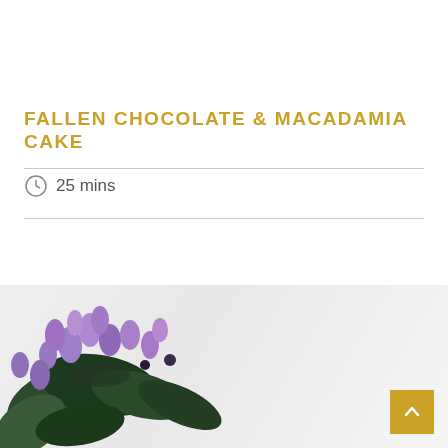[Figure (photo): Dark textured background image at top of page]
FALLEN CHOCOLATE & MACADAMIA CAKE
25 mins
[Figure (photo): Purple lavender flowers with green leaves on white marble surface, with gold back-to-top button in bottom right corner]